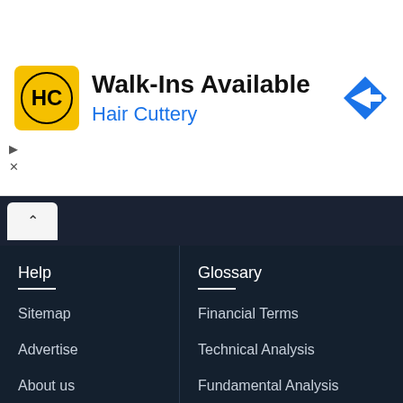[Figure (illustration): Hair Cuttery advertisement banner with logo, 'Walk-Ins Available' heading, 'Hair Cuttery' subtitle in blue, and a blue navigation arrow icon on the right]
Help
Sitemap
Advertise
About us
Glossary
Financial Terms
Technical Analysis
Fundamental Analysis
Energy Terms
Manufacturing Terms
Transportation Terms